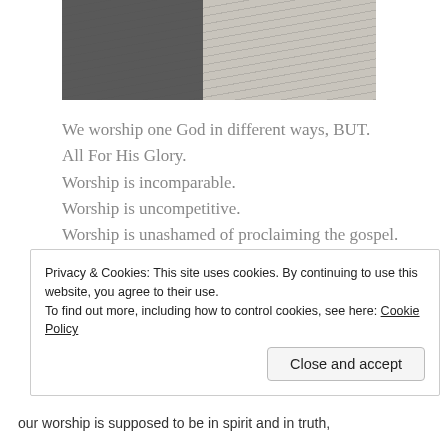[Figure (photo): Photo showing two contrasting floor or wall textures side by side: dark grey/charcoal on the left and light beige/cream on the right]
We worship one God in different ways, BUT.
All For His Glory.
Worship is incomparable.
Worship is uncompetitive.
Worship is unashamed of proclaiming the gospel.
Privacy & Cookies: This site uses cookies. By continuing to use this website, you agree to their use.
To find out more, including how to control cookies, see here: Cookie Policy
Close and accept
our worship is supposed to be in spirit and in truth,